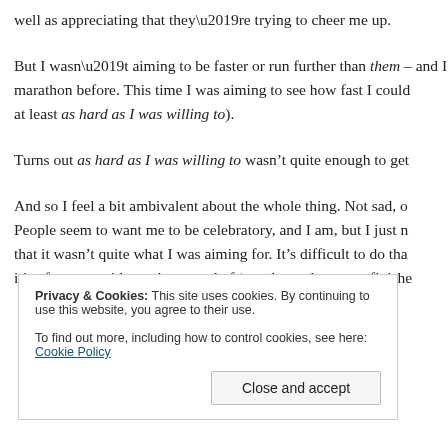well as appreciating that they’re trying to cheer me up.
But I wasn’t aiming to be faster or run further than them – and I had run a marathon before. This time I was aiming to see how fast I could run (or at least as hard as I was willing to).
Turns out as hard as I was willing to wasn’t quite enough to get
And so I feel a bit ambivalent about the whole thing. Not sad, o People seem to want me to be celebratory, and I am, but I just n that it wasn’t quite what I was aiming for. It’s difficult to do tha it’s often met with another round of ‘yes, but at least you finishe
Privacy & Cookies: This site uses cookies. By continuing to use this website, you agree to their use. To find out more, including how to control cookies, see here: Cookie Policy
Close and accept